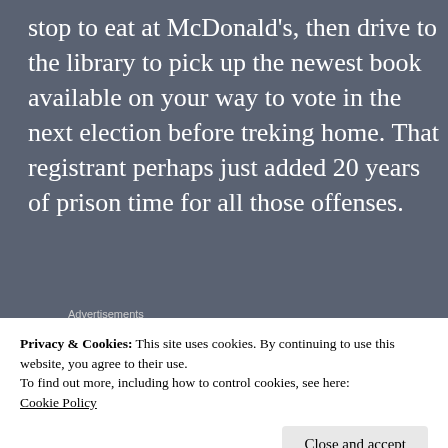stop to eat at McDonald's, then drive to the library to pick up the newest book available on your way to vote in the next election before treking home. That registrant perhaps just added 20 years of prison time for all those offenses.
[Figure (infographic): DuckDuckGo advertisement banner with orange background showing 'Search, browse, and email with more privacy. All in One Free App' text and a phone image with DuckDuckGo logo]
Privacy & Cookies: This site uses cookies. By continuing to use this website, you agree to their use.
To find out more, including how to control cookies, see here:
Cookie Policy
his/her County Board of Elections. Usually,